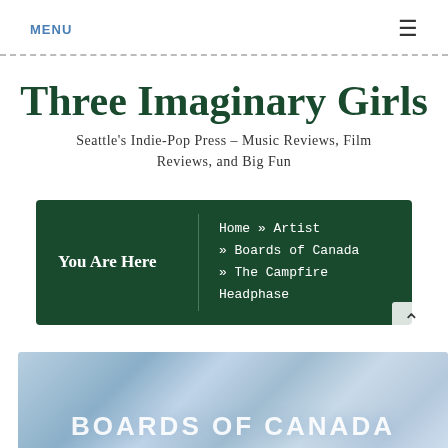MENU ≡
Three Imaginary Girls
Seattle's Indie-Pop Press – Music Reviews, Film Reviews, and Big Fun
You Are Here  Home » Artist » Boards of Canada » The Campfire Headphase
[Figure (photo): Boards of Canada banner image with blue/grey gradient background and white text reading BOARDS OF CANADA]